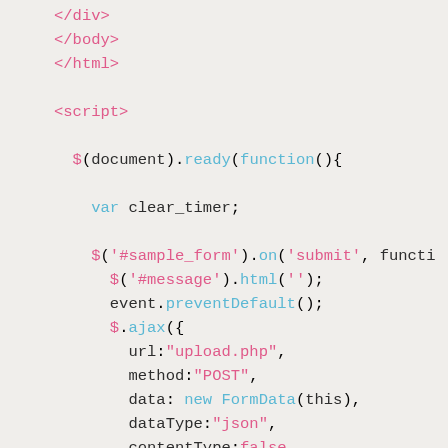Code snippet showing HTML closing tags and jQuery AJAX form submission script